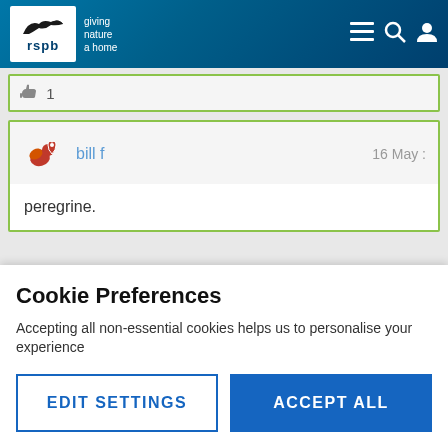[Figure (logo): RSPB logo with bird silhouette and tagline 'giving nature a home']
👍 1
bill f   16 May
peregrine.
Cookie Preferences
Accepting all non-essential cookies helps us to personalise your experience
EDIT SETTINGS
ACCEPT ALL